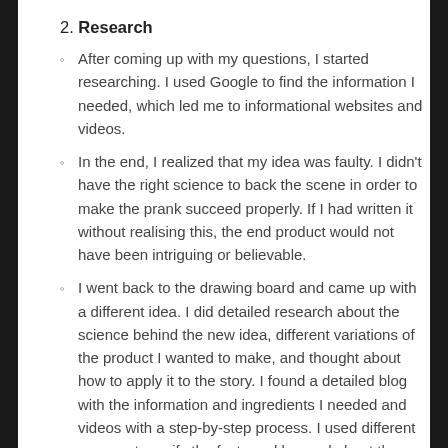2. Research
After coming up with my questions, I started researching. I used Google to find the information I needed, which led me to informational websites and videos.
In the end, I realized that my idea was faulty. I didn't have the right science to back the scene in order to make the prank succeed properly. If I had written it without realising this, the end product would not have been intriguing or believable.
I went back to the drawing board and came up with a different idea. I did detailed research about the science behind the new idea, different variations of the product I wanted to make, and thought about how to apply it to the story. I found a detailed blog with the information and ingredients I needed and videos with a step-by-step process. I used different sources to verify the facts and learned about the science behind the chemicals that would be involved so I could accurately apply it to my